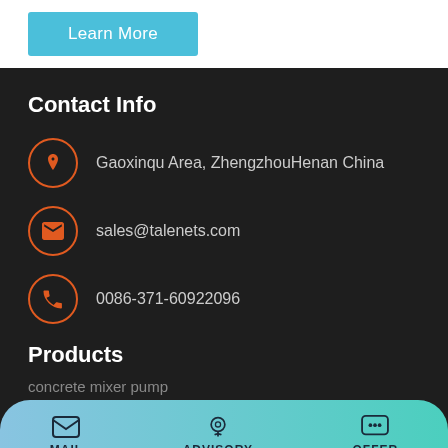Learn More
Contact Info
Gaoxinqu Area, ZhengzhouHenan China
sales@talenets.com
0086-371-60922096
Products
concrete mixer pump
MAIL   ADVISORY   OFFER